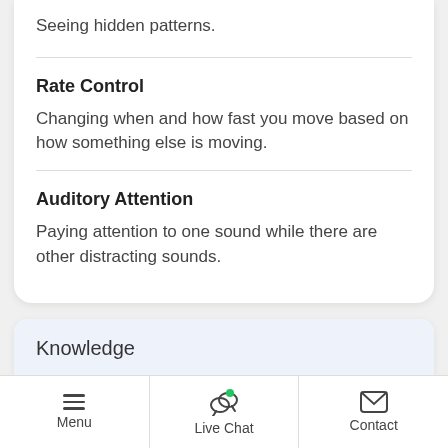Seeing hidden patterns.
Rate Control
Changing when and how fast you move based on how something else is moving.
Auditory Attention
Paying attention to one sound while there are other distracting sounds.
Knowledge
Administrative
Menu  Live Chat  Contact